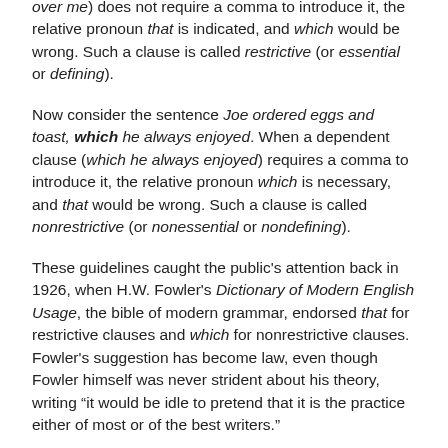over me) does not require a comma to introduce it, the relative pronoun that is indicated, and which would be wrong. Such a clause is called restrictive (or essential or defining).
Now consider the sentence Joe ordered eggs and toast, which he always enjoyed. When a dependent clause (which he always enjoyed) requires a comma to introduce it, the relative pronoun which is necessary, and that would be wrong. Such a clause is called nonrestrictive (or nonessential or nondefining).
These guidelines caught the public's attention back in 1926, when H.W. Fowler's Dictionary of Modern English Usage, the bible of modern grammar, endorsed that for restrictive clauses and which for nonrestrictive clauses. Fowler's suggestion has become law, even though Fowler himself was never strident about his theory, writing “it would be idle to pretend that it is the practice either of most or of the best writers.”
This is the background behind the scolding we received for using a restrictive which. Nonetheless, we stand behind our sentence and